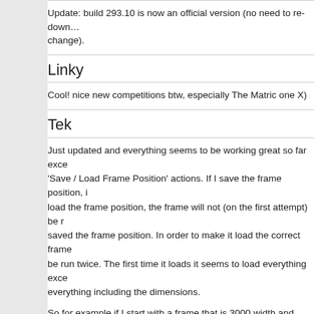Update: build 293.10 is now an official version (no need to re-download, just a change).
Linky
Cool! nice new competitions btw, especially The Matric one X)
Tek
Just updated and everything seems to be working great so far except for the 'Save / Load Frame Position' actions. If I save the frame position, in order to load the frame position, the frame will not (on the first attempt) be moved to where I saved the frame position. In order to make it load the correct frame position, it needs to be run twice. The first time it loads it seems to load everything except the dimensions, everything including the dimensions.
So for example if I start with a frame that is 3000 width and 2000 height, then resize to 4000 width and 4000 height, and then load the frame position, the frame will not go back to 3000x2000. Upon loading the frame position a second time it then becomes 3000x2000.
Regardless of that, excellent update(s)! I've been holding off on updating, lots of things to try out now.:)